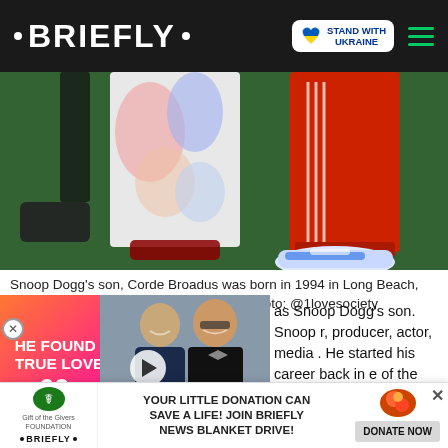• BRIEFLY • | STAND WITH UKRAINE
[Figure (photo): Close-up photo of two people's legs and feet on a green carpet surface. One person wearing colorful tie-dye patterned pants and sandals, another wearing red track pants and blue/white sneakers.]
Snoop Dogg's son, Corde Broadus was born in 1994 in Long Beach, California and is currently 27 years old. Photo: @1lovesociety
Source: Instagram
[Figure (photo): Advertisement overlay: 'HE FOUND TRUE LOVE AT 60' with a photo of a smiling couple in formal attire. Play button visible.]
...as Snoop Dogg's son. Snoop ...r, producer, actor, media ...He started his career back in ...e of the wealthiest ...
[Figure (infographic): Bottom advertisement banner: Gift of the Givers Foundation and Briefly logos. Text: 'YOUR LITTLE DONATION CAN SAVE A LIFE! JOIN BRIEFLY NEWS BLANKET DRIVE!' with DONATE NOW button.]